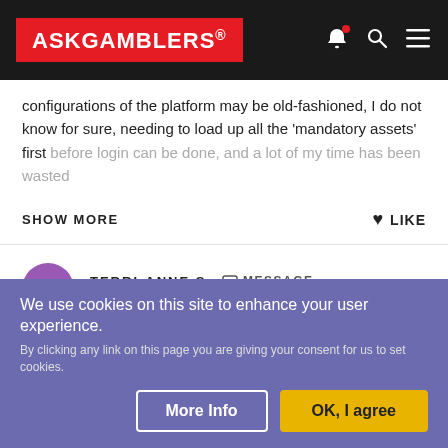ASKGAMBLERS®
configurations of the platform may be old-fashioned, I do not know for sure, needing to load up all the 'mandatory assets' first before login can be done, and a lot of my time has been wasted
SHOW MORE   ♥ LIKE
TERRI-ANNE S. ☐ MESSAGE
5 Reviews •
JANUARY 2, 2016
We use cookies on this site to enhance your user experience.
By clicking any link on this page you are giving your consent for us to set cookies.